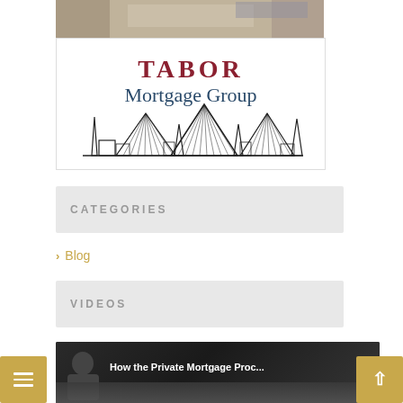[Figure (photo): Partial view of a person using a laptop on a desk, cropped at top]
[Figure (logo): Tabor Mortgage Group logo with stylized city skyline silhouette featuring pointed towers and radiating lines. Text reads TABOR in dark red and Mortgage Group in dark teal.]
CATEGORIES
> Blog
VIDEOS
[Figure (screenshot): Video thumbnail with dark background showing a person silhouette on left, title text 'How the Private Mortgage Proc...' in white, three-dot menu icon, and blurred hands at bottom]